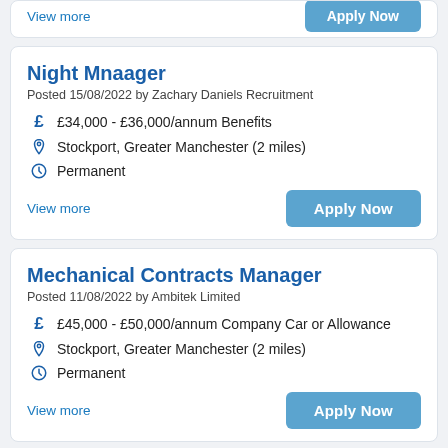View more | Apply Now
Night Mnaager
Posted 15/08/2022 by Zachary Daniels Recruitment
£34,000 - £36,000/annum Benefits
Stockport, Greater Manchester (2 miles)
Permanent
View more | Apply Now
Mechanical Contracts Manager
Posted 11/08/2022 by Ambitek Limited
£45,000 - £50,000/annum Company Car or Allowance
Stockport, Greater Manchester (2 miles)
Permanent
View more | Apply Now